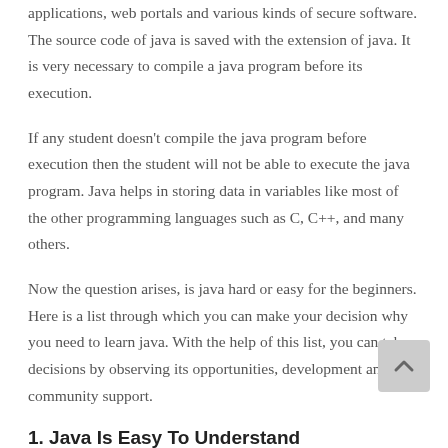applications, web portals and various kinds of secure software. The source code of java is saved with the extension of java. It is very necessary to compile a java program before its execution.
If any student doesn't compile the java program before execution then the student will not be able to execute the java program. Java helps in storing data in variables like most of the other programming languages such as C, C++, and many others.
Now the question arises, is java hard or easy for the beginners. Here is a list through which you can make your decision why you need to learn java. With the help of this list, you can take decisions by observing its opportunities, development and community support.
1. Java Is Easy To Understand
Many students would get surprised to know that the top reason to learn java is that it is a very easy language. If you have a steep